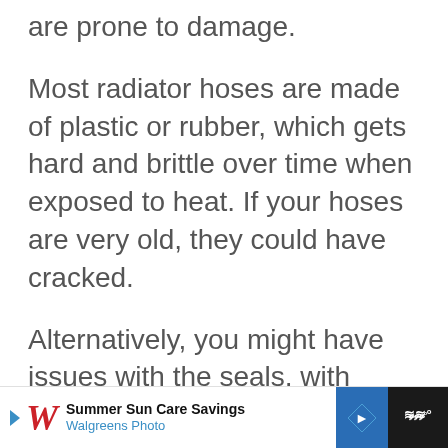are prone to damage.
Most radiator hoses are made of plastic or rubber, which gets hard and brittle over time when exposed to heat. If your hoses are very old, they could have cracked.
Alternatively, you might have issues with the seals, with connections, or with a puncture. If you keep losing coolant, it’s a good idea to inspect the following to check for leaks or wet s...
[Figure (screenshot): Walgreens Photo advertisement banner: Summer Sun Care Savings]